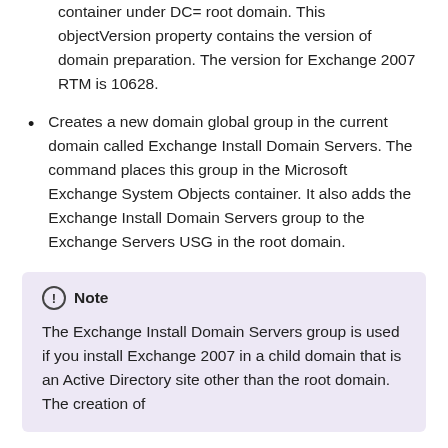container under DC= root domain. This objectVersion property contains the version of domain preparation. The version for Exchange 2007 RTM is 10628.
Creates a new domain global group in the current domain called Exchange Install Domain Servers. The command places this group in the Microsoft Exchange System Objects container. It also adds the Exchange Install Domain Servers group to the Exchange Servers USG in the root domain.
Note
The Exchange Install Domain Servers group is used if you install Exchange 2007 in a child domain that is an Active Directory site other than the root domain. The creation of